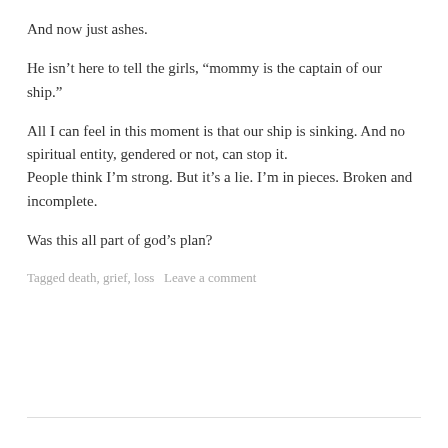And now just ashes.
He isn’t here to tell the girls, “mommy is the captain of our ship.”
All I can feel in this moment is that our ship is sinking. And no spiritual entity, gendered or not, can stop it.
People think I’m strong. But it’s a lie. I’m in pieces. Broken and incomplete.
Was this all part of god’s plan?
Tagged death, grief, loss   Leave a comment